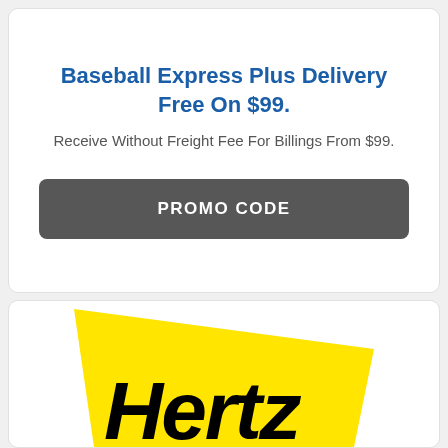Baseball Express Plus Delivery Free On $99.
Receive Without Freight Fee For Billings From $99.
PROMO CODE
[Figure (logo): Hertz logo on yellow background, partially visible at bottom of page]